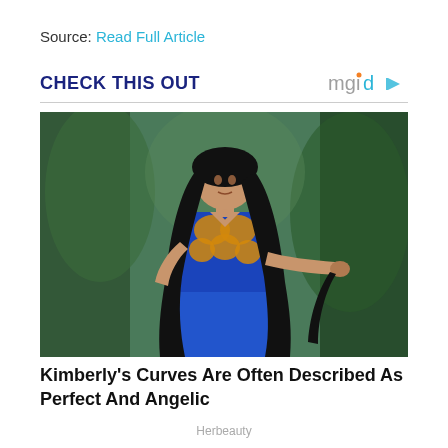Source: Read Full Article
CHECK THIS OUT
[Figure (photo): A young woman with long wavy black hair wearing a blue and orange/gold African print halter top and blue pants, posing outdoors with a blurred green background. She is holding the end of her braid.]
Kimberly's Curves Are Often Described As Perfect And Angelic
Herbeauty